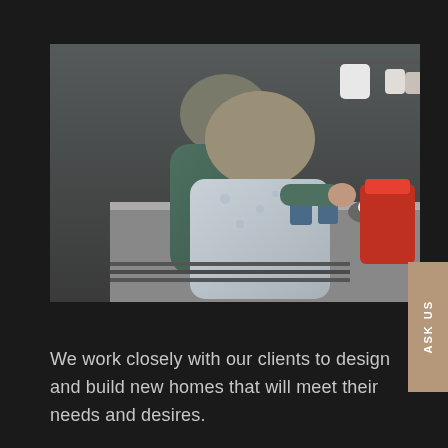[Figure (photo): Two elderly people in a kitchen, seen from behind. One wears a green sweater, the other a light blue patterned housecoat. They appear to be at the kitchen counter with mugs, a bowl of eggs, and a red bag visible.]
We work closely with our clients to design and build new homes that will meet their needs and desires.